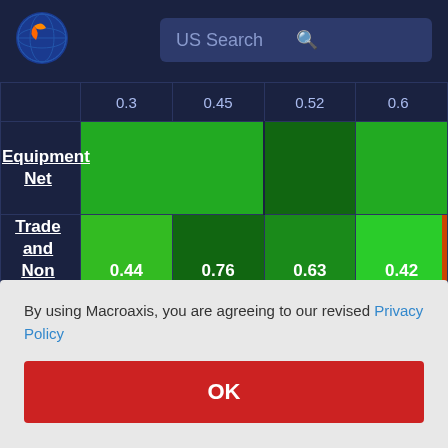[Figure (logo): Macroaxis globe logo, dark blue and orange]
US Search
|  | 0.3 | 0.45 | 0.52 | 0.6 |
| --- | --- | --- | --- | --- |
| Equipment Net |  |  |  |  |
| Trade and Non Trade Receivables | 0.44 | 0.76 | 0.63 | 0.42 |
By using Macroaxis, you are agreeing to our revised Privacy Policy
OK